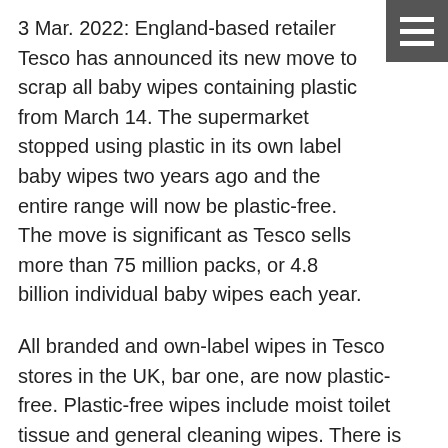3 Mar. 2022: England-based retailer Tesco has announced its new move to scrap all baby wipes containing plastic from March 14. The supermarket stopped using plastic in its own label baby wipes two years ago and the entire range will now be plastic-free. The move is significant as Tesco sells more than 75 million packs, or 4.8 billion individual baby wipes each year.
All branded and own-label wipes in Tesco stores in the UK, bar one, are now plastic-free. Plastic-free wipes include moist toilet tissue and general cleaning wipes. There is only one type of wipe available at Tesco that contains plastic, a pet wipe, which will be plastic-free by the end of the year.
“We have worked hard to remove plastic from our wipes as we know how long they take to break down.” There is no need for wet wipes to contain plastic so from now on we will no longer stock them if they do,” Tesco group